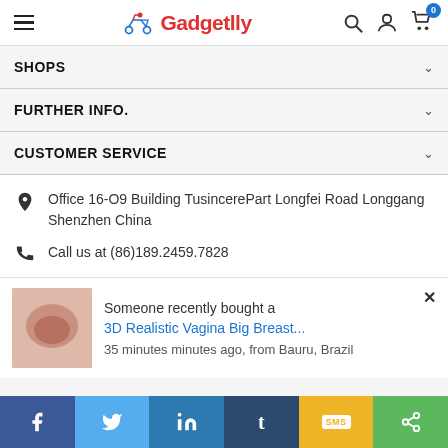Gadgetlly - navigation header with hamburger menu, logo, search, account, cart
SHOPS
FURTHER INFO.
CUSTOMER SERVICE
Office 16-O9 Building TusincerePart Longfei Road Longgang Shenzhen China
Call us at (86)189.2459.7828
Someone recently bought a
3D Realistic Vagina Big Breast...
35 minutes minutes ago, from Bauru, Brazil